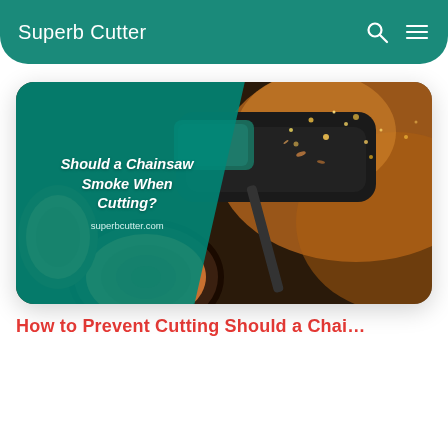Superb Cutter
[Figure (screenshot): Article thumbnail card showing a chainsaw cutting wood with sawdust flying. Left side has a teal overlay with italic bold text: 'Should a Chainsaw Smoke When Cutting?' and 'superbcutter.com' below. Image shows close-up of chainsaw blade on dark log with wood chips and warm orange dust in background.]
Should a Chainsaw Smoke When Cutting?